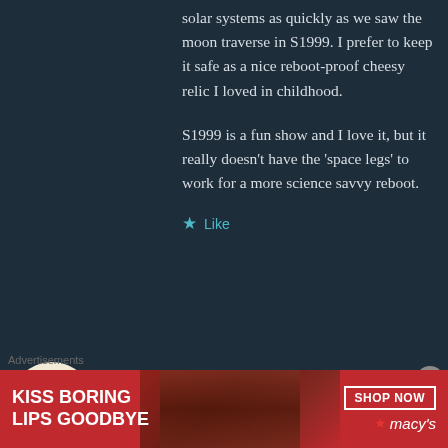solar systems as quickly as we saw the moon traverse in S1999. I prefer to keep it safe as a nice reboot-proof cheesy relic I loved in childhood.
S1999 is a fun show and I love it, but it really doesn't have the 'space legs' to work for a more science savvy reboot.
★ Like
FANTOMEX9 says: August 30, 2020 at 2:50 am
[Figure (photo): User avatar circle with tan/beige background and golden rectangle placeholder image]
← Reply
[Figure (photo): Advertisement banner for Macy's: KISS BORING LIPS GOODBYE with SHOP NOW button and Macy's star logo]
Advertisements